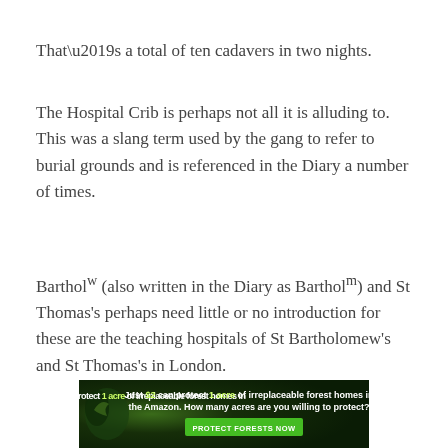That’s a total of ten cadavers in two nights.
The Hospital Crib is perhaps not all it is alluding to. This was a slang term used by the gang to refer to burial grounds and is referenced in the Diary a number of times.
Bartholᵂ (also written in the Diary as Bartholᵐ) and St Thomas’s perhaps need little or no introduction for these are the teaching hospitals of St Bartholomew’s and St Thomas’s in London.
[Figure (infographic): Advertisement banner with dark green forest background showing a bird, text reading 'Just $2 can protect 1 acre of irreplaceable forest homes in the Amazon. How many acres are you willing to protect?' with a green 'PROTECT FORESTS NOW' button.]